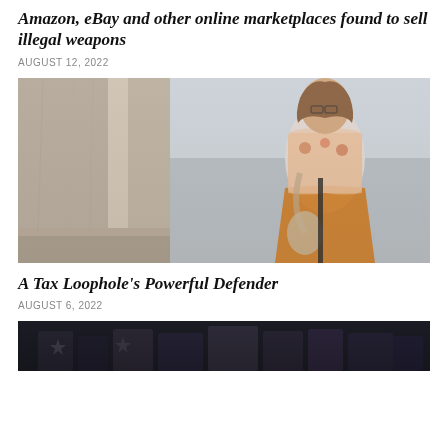Amazon, eBay and other online marketplaces found to sell illegal weapons
AUGUST 12, 2022
[Figure (photo): Photo of a woman wearing an orange skirt and floral top walking past large marble columns, smiling]
A Tax Loophole's Powerful Defender
AUGUST 6, 2022
[Figure (photo): Partial photo at bottom of page, appears to show people in dark clothing]